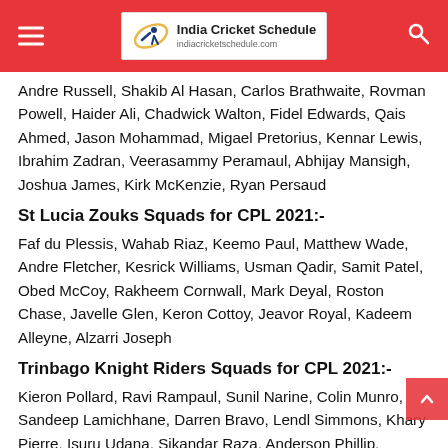India Cricket Schedule - indiacricketschedule.com
Andre Russell, Shakib Al Hasan, Carlos Brathwaite, Rovman Powell, Haider Ali, Chadwick Walton, Fidel Edwards, Qais Ahmed, Jason Mohammad, Migael Pretorius, Kennar Lewis, Ibrahim Zadran, Veerasammy Peramaul, Abhijay Mansigh, Joshua James, Kirk McKenzie, Ryan Persaud
St Lucia Zouks Squads for CPL 2021:-
Faf du Plessis, Wahab Riaz, Keemo Paul, Matthew Wade, Andre Fletcher, Kesrick Williams, Usman Qadir, Samit Patel, Obed McCoy, Rakheem Cornwall, Mark Deyal, Roston Chase, Javelle Glen, Keron Cottoy, Jeavor Royal, Kadeem Alleyne, Alzarri Joseph
Trinbago Knight Riders Squads for CPL 2021:-
Kieron Pollard, Ravi Rampaul, Sunil Narine, Colin Munro, Sandeep Lamichhane, Darren Bravo, Lendl Simmons, Khary Pierre, Isuru Udana, Sikandar Raza, Anderson Phillip, Denesh Ramdin, Tion Webster, Akeal Hosein, Jayden Seales, Leonardo ...